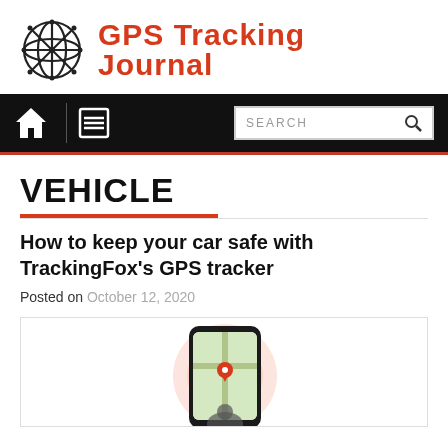GPS Tracking Journal
[Figure (screenshot): Navigation bar with home icon, menu icon, and search box]
VEHICLE
How to keep your car safe with TrackingFox's GPS tracker
Posted on October 12, 2020
[Figure (photo): Smartphone displaying a GPS tracking map with location pin, partial view of a person at the bottom]